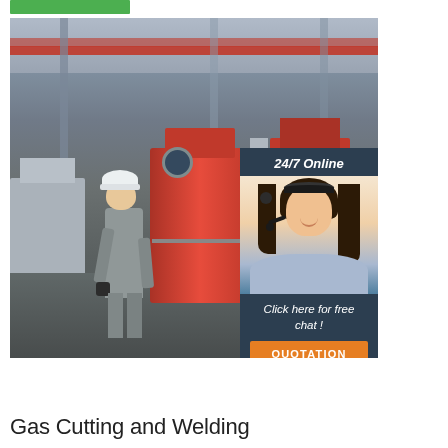[Figure (photo): Factory interior with industrial machinery (red CNC/cutting machines), a worker in grey coveralls and white hard hat, overhead red girder beams, and a 24/7 online chat overlay with female agent wearing headset, plus an orange QUOTATION button]
Gas Cutting and Welding